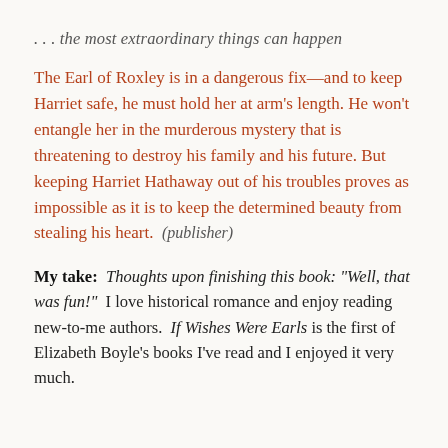. . . the most extraordinary things can happen
The Earl of Roxley is in a dangerous fix—and to keep Harriet safe, he must hold her at arm's length. He won't entangle her in the murderous mystery that is threatening to destroy his family and his future. But keeping Harriet Hathaway out of his troubles proves as impossible as it is to keep the determined beauty from stealing his heart.  (publisher)
My take:  Thoughts upon finishing this book: "Well, that was fun!"  I love historical romance and enjoy reading new-to-me authors.  If Wishes Were Earls is the first of Elizabeth Boyle's books I've read and I enjoyed it very much.